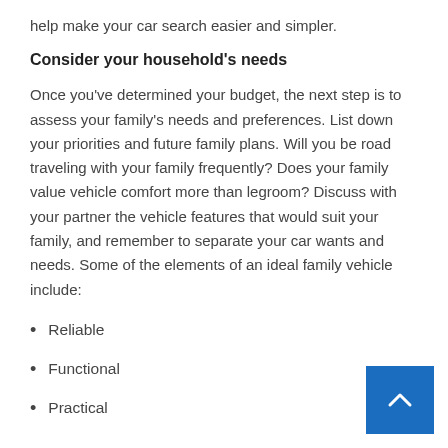help make your car search easier and simpler.
Consider your household’s needs
Once you’ve determined your budget, the next step is to assess your family’s needs and preferences. List down your priorities and future family plans. Will you be road traveling with your family frequently? Does your family value vehicle comfort more than legroom? Discuss with your partner the vehicle features that would suit your family, and remember to separate your car wants and needs. Some of the elements of an ideal family vehicle include:
Reliable
Functional
Practical